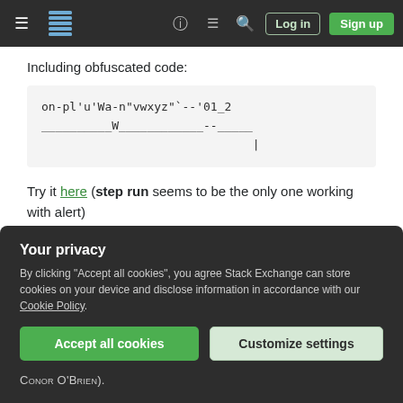Stack Exchange navigation bar with hamburger menu, logo, help icon, chat icon, search icon, Log in and Sign up buttons
Including obfuscated code:
on-pl'u'Wa-n"vwxyz"`--'01_2
__________W____________--_____
                              |
Try it here (step run seems to be the only one working with alert)
Explanation
Your privacy
By clicking "Accept all cookies", you agree Stack Exchange can store cookies on your device and disclose information in accordance with our Cookie Policy.
Accept all cookies  Customize settings
CONOR O'BRIEN).